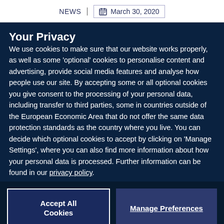NEWS | March 30, 2020
Your Privacy
We use cookies to make sure that our website works properly, as well as some 'optional' cookies to personalise content and advertising, provide social media features and analyse how people use our site. By accepting some or all optional cookies you give consent to the processing of your personal data, including transfer to third parties, some in countries outside of the European Economic Area that do not offer the same data protection standards as the country where you live. You can decide which optional cookies to accept by clicking on 'Manage Settings', where you can also find more information about how your personal data is processed. Further information can be found in our privacy policy.
Accept All Cookies
Manage Preferences